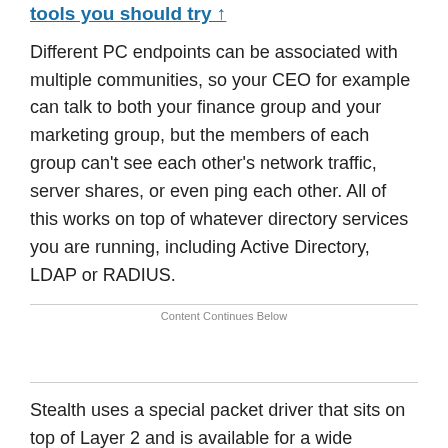tools you should try ↑
Different PC endpoints can be associated with multiple communities, so your CEO for example can talk to both your finance group and your marketing group, but the members of each group can't see each other's network traffic, server shares, or even ping each other. All of this works on top of whatever directory services you are running, including Active Directory, LDAP or RADIUS.
Content Continues Below
Stealth uses a special packet driver that sits on top of Layer 2 and is available for a wide collection of both